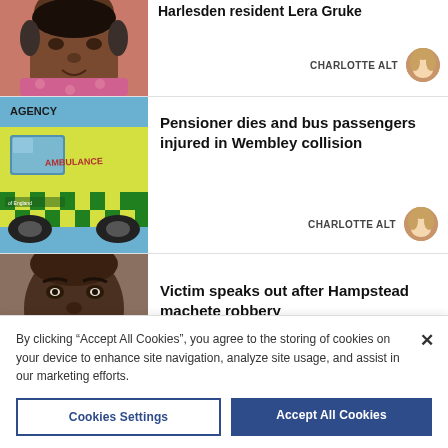[Figure (photo): Partial view of an elderly woman's face (lower portion, top is cut off), wearing a pink floral top and necklace]
Harlesden resident Lera Gruke (partially visible, cut off at top)
CHARLOTTE ALT
[Figure (photo): Author avatar - woman with blonde hair]
[Figure (photo): Yellow and green ambulance with 'AMBULANCE' and 'AGENCY' text visible, South of England Ambulance Service]
Pensioner dies and bus passengers injured in Wembley collision
CHARLOTTE ALT
[Figure (photo): Author avatar - woman with blonde hair]
[Figure (photo): Close-up of a person's face, dark skin, partially cut off]
Victim speaks out after Hampstead machete robbery
By clicking "Accept All Cookies", you agree to the storing of cookies on your device to enhance site navigation, analyze site usage, and assist in our marketing efforts.
Cookies Settings
Accept All Cookies